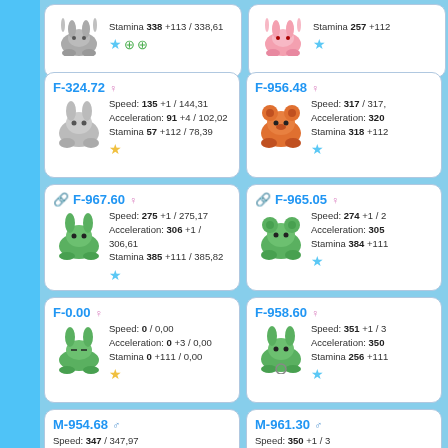[Figure (screenshot): Game UI showing rabbit/animal cards with stats. Partial top row visible.]
Stamina 338 +113 / 338,61
Stamina 257 +112
F-324.72 ♀
Speed: 135 +1 / 144,31
Acceleration: 91 +4 / 102,02
Stamina 57 +112 / 78,39
F-956.48 ♀
Speed: 317 / 317,
Acceleration: 320
Stamina 318 +112
🔗 F-967.60 ♀
Speed: 275 +1 / 275,17
Acceleration: 306 +1 / 306,61
Stamina 385 +111 / 385,82
🔗 F-965.05 ♀
Speed: 274 +1 / 2
Acceleration: 305
Stamina 384 +111
F-0.00 ♀
Speed: 0 / 0,00
Acceleration: 0 +3 / 0,00
Stamina 0 +111 / 0,00
F-958.60 ♀
Speed: 351 +1 / 3
Acceleration: 350
Stamina 256 +111
M-954.68 ♂
Speed: 347 / 347,97
M-961.30 ♂
Speed: 350 +1 / 3